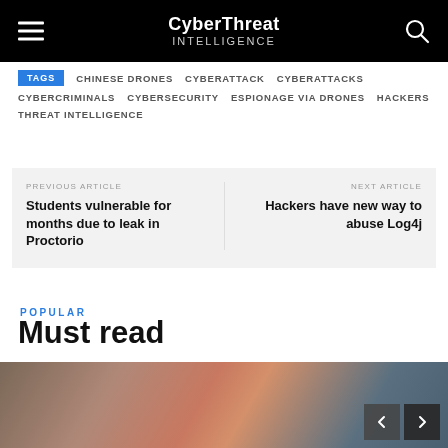CyberThreat Intelligence
TAGS
CHINESE DRONES
CYBERATTACK
CYBERATTACKS
CYBERCRIMINALS
CYBERSECURITY
ESPIONAGE VIA DRONES
HACKERS
THREAT INTELLIGENCE
PREVIOUS ARTICLE
Students vulnerable for months due to leak in Proctorio
NEXT ARTICLE
Hackers have new way to abuse Log4j
POPULAR
Must read
[Figure (photo): Gavel or legal/books image at bottom of page with carousel navigation buttons]